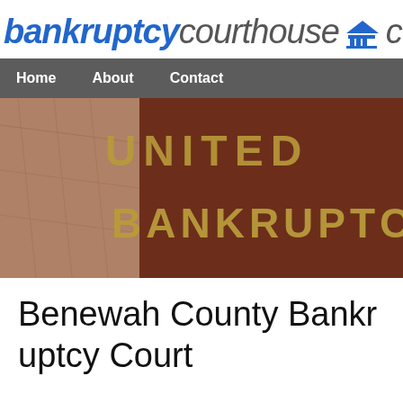bankruptcycourthouse c
[Figure (screenshot): Navigation bar with Home, About, Contact links on dark gray background, and a photo of a United States Bankruptcy Court building sign in bronze lettering]
Benewah County Bankruptcy Court